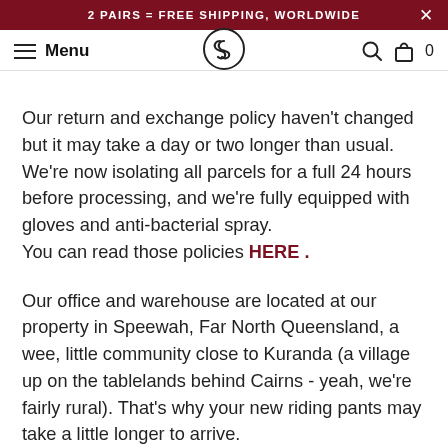2 PAIRS = FREE SHIPPING, WORLDWIDE
Our return and exchange policy haven't changed but it may take a day or two longer than usual. We're now isolating all parcels for a full 24 hours before processing, and we're fully equipped with gloves and anti-bacterial spray.
You can read those policies HERE .
Our office and warehouse are located at our property in Speewah, Far North Queensland, a wee, little community close to Kuranda (a village up on the tablelands behind Cairns - yeah, we're fairly rural). That's why your new riding pants may take a little longer to arrive.
We use Australia Post for all our deliveries within